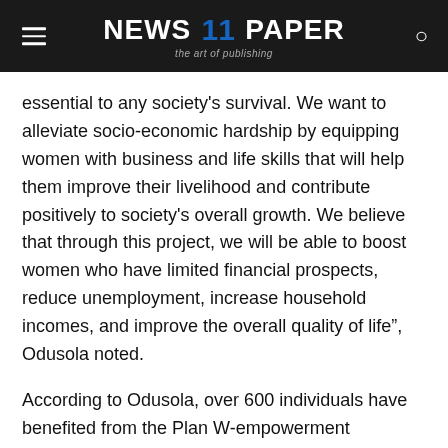NEWS 11 PAPER — the art of publishing
essential to any society’s survival. We want to alleviate socio-economic hardship by equipping women with business and life skills that will help them improve their livelihood and contribute positively to society’s overall growth. We believe that through this project, we will be able to boost women who have limited financial prospects, reduce unemployment, increase household incomes, and improve the overall quality of life”, Odusola noted.
According to Odusola, over 600 individuals have benefited from the Plan W-empowerment programme thus far.
Mrs. Barbara Nekpen Osobajo, the Permanent Secretary in the Edo State Ministry of Social Development and Gender Issues, praised Guinness Nigeria’s efforts and encouraged